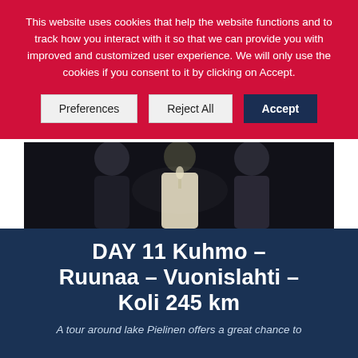This website uses cookies that help the website functions and to track how you interact with it so that we can provide you with improved and customized user experience. We will only use the cookies if you consent to it by clicking on Accept.
[Figure (photo): Dark photo showing people at a social gathering, raising glasses]
DAY 11 Kuhmo – Ruunaa – Vuonislahti – Koli 245 km
A tour around lake Pielinen offers a great chance to